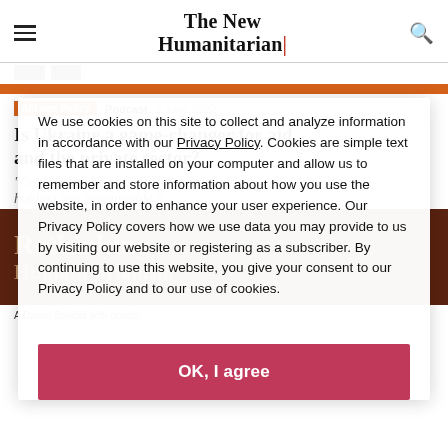The New Humanitarian
Aid and Policy  Podcast  2 June 2022
Is Ukraine a game-changer for aid and the private sector?
"Companies are realising that employees are holding you accountable."
[Figure (photo): Book cover or design element showing text 'Rethinking Humanitarianism' in brown/orange tones]
A Davos Special with guests
We use cookies on this site to collect and analyze information in accordance with our Privacy Policy. Cookies are simple text files that are installed on your computer and allow us to remember and store information about how you use the website, in order to enhance your user experience. Our Privacy Policy covers how we use data you may provide to us by visiting our website or registering as a subscriber. By continuing to use this website, you give your consent to our Privacy Policy and to our use of cookies.
OK, I agree